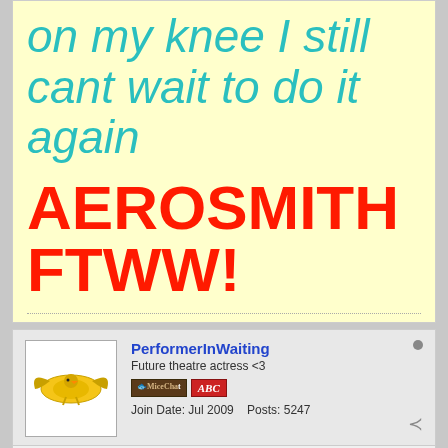on my knee I still cant wait to do it again
AEROSMITH FTWW!
PerformerInWaiting
Future theatre actress <3
Join Date: Jul 2009    Posts: 5247
10-01-2009, 07:58 PM
#5